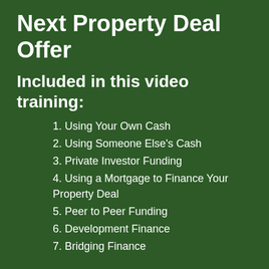Next Property Deal Offer
Included in this video training:
1. Using Your Own Cash
2. Using Someone Else's Cash
3. Private Investor Funding
4. Using a Mortgage to Finance Your Property Deal
5. Peer to Peer Funding
6. Development Finance
7. Bridging Finance